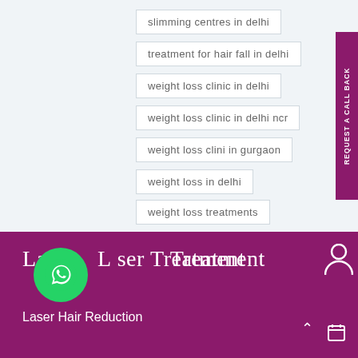slimming centres in delhi
treatment for hair fall in delhi
weight loss clinic in delhi
weight loss clinic in delhi ncr
weight loss clini in gurgaon
weight loss in delhi
weight loss treatments
REQUEST A CALL BACK
Laser Treatment
Laser Hair Reduction